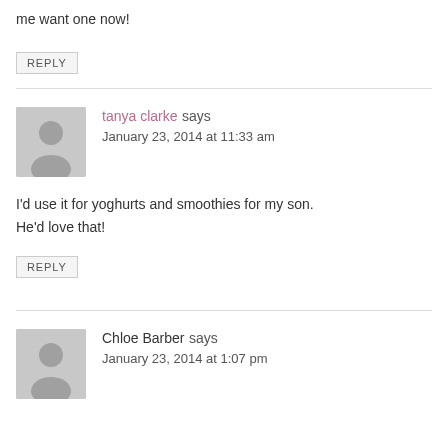me want one now!
REPLY
tanya clarke says
January 23, 2014 at 11:33 am
I'd use it for yoghurts and smoothies for my son. He'd love that!
REPLY
Chloe Barber says
January 23, 2014 at 1:07 pm